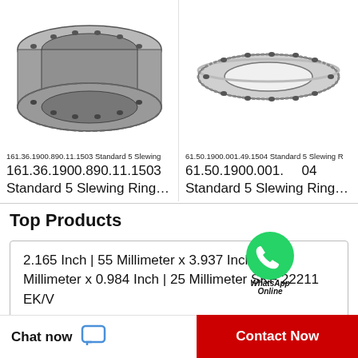[Figure (photo): Slewing ring bearing - thick cylindrical type with bolt holes and gear teeth, metallic finish]
161.36.1900.890.11.1503 Standard 5 Slewing
161.36.1900.890.11.1503 Standard 5 Slewing Ring…
[Figure (photo): Slewing ring bearing - thin flat ring type with bolt holes and gear teeth around perimeter]
61.50.1900.001.49.1504 Standard 5 Slewing R
61.50.1900.001.49.1504 Standard 5 Slewing Ring…
[Figure (logo): WhatsApp Online green circle icon with phone handset]
Top Products
2.165 Inch | 55 Millimeter x 3.937 Inch | 100 Millimeter x 0.984 Inch | 25 Millimeter SKF 22211 EK/V
Chat now
Contact Now